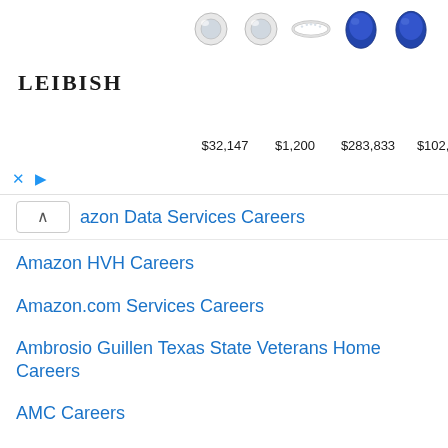[Figure (other): Advertisement banner for Leibish jewelry showing diamond earrings, a ring, sapphire gemstones, ruby, and a diamond with prices $32,147, $1,200, $283,833, $102,713, $320,489]
azon Data Services Careers
Amazon HVH Careers
Amazon.com Services Careers
Ambrosio Guillen Texas State Veterans Home Careers
AMC Careers
AMC Theatres Careers
AMD Careers
Amentum Careers
Amerant Bank Careers
Ameren Careers